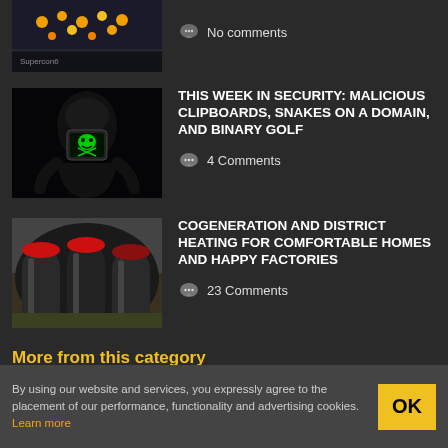[Figure (screenshot): Thumbnail image of Supercon6 badge with circuit board dots on dark background]
No comments
[Figure (photo): Hooded figure with green skull on monitor screen, representing cybersecurity theme]
THIS WEEK IN SECURITY: MALICIOUS CLIPBOARDS, SNAKES ON A DOMAIN, AND BINARY GOLF
4 Comments
[Figure (photo): Industrial pipes with red caps bundled together]
COGENERATION AND DISTRICT HEATING FOR COMFORTABLE HOMES AND HAPPY FACTORIES
23 Comments
More from this category
By using our website and services, you expressly agree to the placement of our performance, functionality and advertising cookies. Learn more